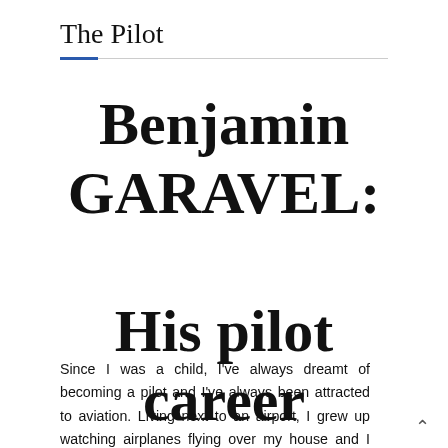The Pilot
Benjamin GARAVEL: His pilot career
Since I was a child, I've always dreamt of becoming a pilot and I've always been attracted to aviation. Living next to an airport, I grew up watching airplanes flying over my house and I always told